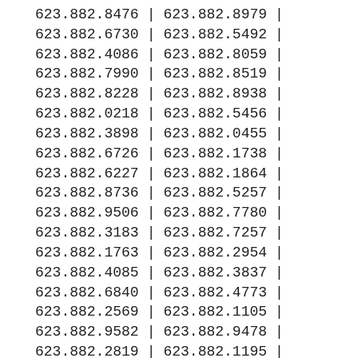| 623.882.8476 | | | 623.882.8979 | | |
| 623.882.6730 | | | 623.882.5492 | | |
| 623.882.4086 | | | 623.882.8059 | | |
| 623.882.7990 | | | 623.882.8519 | | |
| 623.882.8228 | | | 623.882.8938 | | |
| 623.882.0218 | | | 623.882.5456 | | |
| 623.882.3898 | | | 623.882.0455 | | |
| 623.882.6726 | | | 623.882.1738 | | |
| 623.882.6227 | | | 623.882.1864 | | |
| 623.882.8736 | | | 623.882.5257 | | |
| 623.882.9506 | | | 623.882.7780 | | |
| 623.882.3183 | | | 623.882.7257 | | |
| 623.882.1763 | | | 623.882.2954 | | |
| 623.882.4085 | | | 623.882.3837 | | |
| 623.882.6840 | | | 623.882.4773 | | |
| 623.882.2569 | | | 623.882.1105 | | |
| 623.882.9582 | | | 623.882.9478 | | |
| 623.882.2819 | | | 623.882.1195 | | |